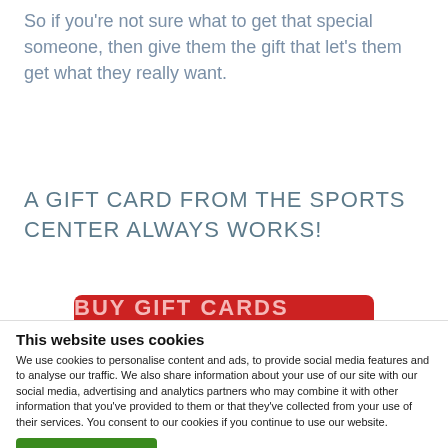So if you're not sure what to get that special someone, then give them the gift that let's them get what they really want.
A GIFT CARD FROM THE SPORTS CENTER ALWAYS WORKS!
[Figure (other): Red button with text 'BUY GIFT CARDS ONLINE']
This website uses cookies
We use cookies to personalise content and ads, to provide social media features and to analyse our traffic. We also share information about your use of our site with our social media, advertising and analytics partners who may combine it with other information that you've provided to them or that they've collected from your use of their services. You consent to our cookies if you continue to use our website.
Allow all cookies
Show details